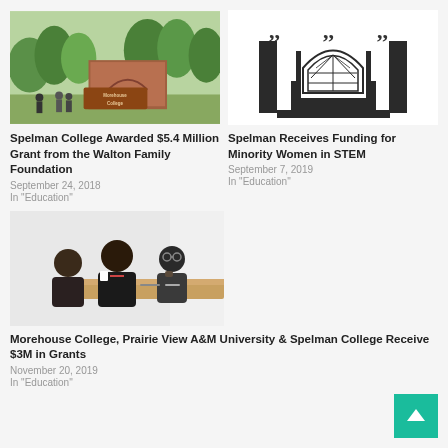[Figure (photo): Spelman College campus building with brick sign and trees]
Spelman College Awarded $5.4 Million Grant from the Walton Family Foundation
September 24, 2018
In "Education"
[Figure (logo): Spelman College logo with architectural columns and arched window]
Spelman Receives Funding for Minority Women in STEM
September 7, 2019
In "Education"
[Figure (photo): Three people seated at a conference table at Morehouse/Spelman event]
Morehouse College, Prairie View A&M University & Spelman College Receive $3M in Grants
November 20, 2019
In "Education"